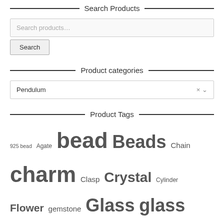Search Products
[Figure (screenshot): Search products text input field with placeholder text 'Search products...']
Search (button)
Product categories
[Figure (screenshot): Dropdown selector showing 'Pendulum' with clear and expand controls]
Product Tags
925 bead Agate bead Beads Chain charm Clasp Crystal Cylinder Flower gemstone Glass glass bead glass beads Handmade handmade bead heart Link Metal metal bead metal charm metal pendant metal spacer Nickel Free Pandora Style Pearl pendant plastic bead Porcelain Resin seed seed bead Semi-precious shell Spacer Spacers sterling sterling beads Sterling Silver